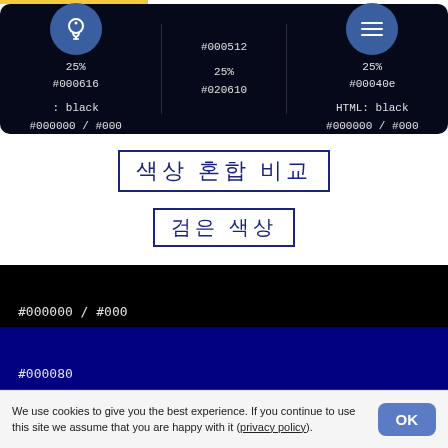[Figure (screenshot): Dark panel showing color swatches with a lightbulb icon circle on the left and a menu hamburger icon circle on the right. Three columns: left shows 25% / #000616 / : black / #000000 / #000, center shows #000512 / 25% / #020610, right shows 25% / #00040e / HTML: black / #000000 / #000.]
색상 혼합 비교
검은 색상
#000000 / #000
#000080
#392f31
We use cookies to give you the best experience. If you continue to use this site we assume that you are happy with it (privacy policy)